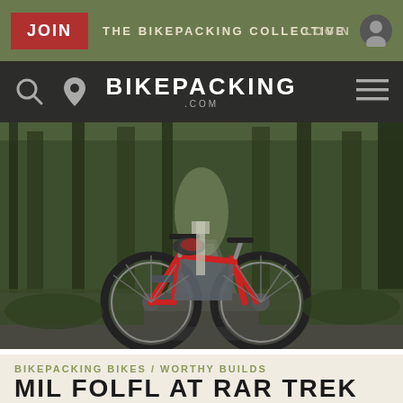[Figure (screenshot): Website header with JOIN button and THE BIKEPACKING COLLECTIVE text on olive green background, LOGIN button on right]
[Figure (screenshot): Navigation bar with search and location icons, BIKEPACKING.COM logo centered, hamburger menu on right]
[Figure (photo): Hero photo of a red bikepacking bicycle with frame bags standing on a misty forest gravel road surrounded by tall green trees]
BIKEPACKING BIKES / WORTHY BUILDS
MIL FOLFL AT RAR TREK ECO